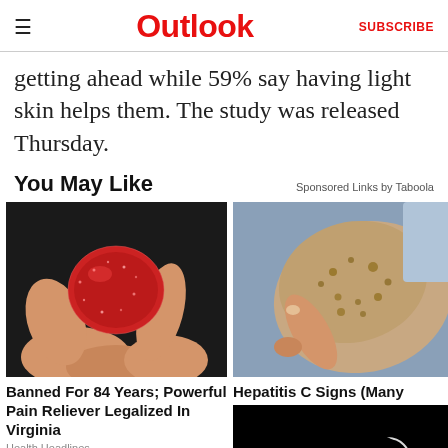Outlook | SUBSCRIBE
getting ahead while 59% say having light skin helps them. The study was released Thursday.
You May Like
Sponsored Links by Taboola
[Figure (photo): Hand holding a red sugar-coated gummy candy against dark background]
[Figure (photo): Close-up of a person's arm with skin condition, finger pointing at affected area]
Banned For 84 Years; Powerful Pain Reliever Legalized In Virginia
Health Headlines
Hepatitis C Signs (Many
[Figure (photo): Dark image with a white crescent circle shape in center]